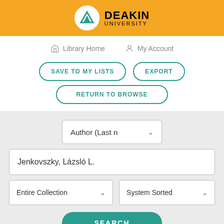[Figure (logo): Deakin University logo on orange banner header]
Library Home   My Account
SAVE TO MY LISTS   EXPORT   RETURN TO BROWSE
Author (Last n...
Jenkovszky, Lázsló L.
Entire Collection   System Sorted
SEARCH